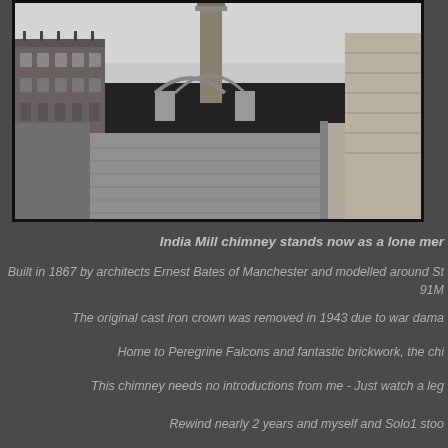[Figure (photo): Black and white photograph of a cobblestone street with terraced brick houses on the left, a large industrial chimney (India Mill chimney) in the background centre, a railway viaduct arch behind it, and a stone building wall on the right side.]
India Mill chimney stands now as a lone mer
Built in 1867 by architects Ernest Bates of Manchester and modelled around St 91M
The original cast iron crown was removed in 1943 due to war dama
Home to Peregrine Falcons and fantastic brickwork, the chi
This chimney needs no introductions from me - Just watch a leg
Rewind nearly 2 years and myself and Solo1 stoo